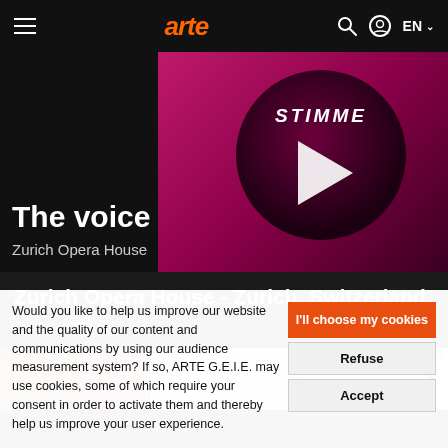arte — navigation bar with hamburger menu, ARTE logo, search, profile, EN language selector
[Figure (screenshot): Video thumbnail for 'The voice – Zurich Opera House' with pink/magenta circular graphic showing 'STIMME' text and a white play triangle button. Dark background left side showing video title.]
The voice
Zurich Opera House
Zurich Opera House - Zurich, Switzerland
Autoplay
[Figure (screenshot): Three thumbnail images in a strip: first shows brown curtain-like texture (no label visible), second and third show 'Last day' labels with white/grey content thumbnails. A right arrow navigation button overlays the right side.]
Would you like to help us improve our website and the quality of our content and communications by using our audience measurement system? If so, ARTE G.E.I.E. may use cookies, some of which require your consent in order to activate them and thereby help us improve your user experience.
I'll choose my cookies
Refuse
Accept